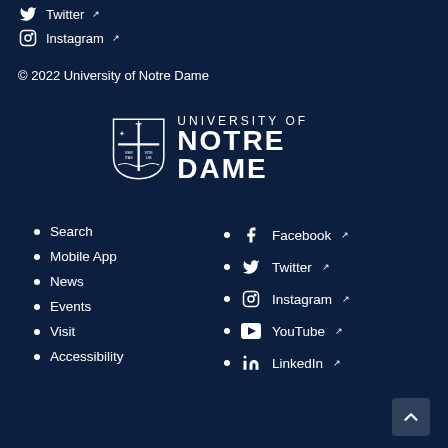Twitter
Instagram
© 2022 University of Notre Dame
[Figure (logo): University of Notre Dame shield logo with text UNIVERSITY OF NOTRE DAME]
Search
Mobile App
News
Events
Visit
Accessibility
Facebook
Twitter
Instagram
YouTube
LinkedIn